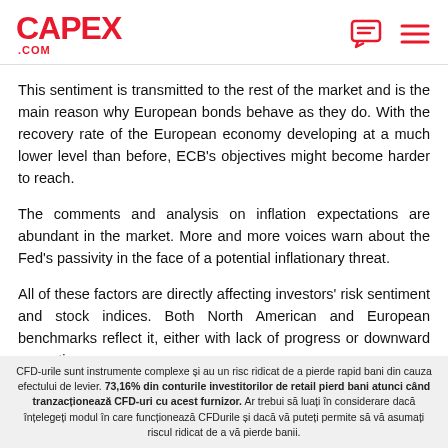CAPEX .COM
This sentiment is transmitted to the rest of the market and is the main reason why European bonds behave as they do. With the recovery rate of the European economy developing at a much lower level than before, ECB's objectives might become harder to reach.
The comments and analysis on inflation expectations are abundant in the market. More and more voices warn about the Fed's passivity in the face of a potential inflationary threat.
All of these factors are directly affecting investors' risk sentiment and stock indices. Both North American and European benchmarks reflect it, either with lack of progress or downward corrections.
CFD-urile sunt instrumente complexe și au un risc ridicat de a pierde rapid bani din cauza efectului de levier. 73,16% din conturile investitorilor de retail pierd bani atunci când tranzacționează CFD-uri cu acest furnizor. Ar trebui să luați în considerare dacă înțelegeți modul în care funcționează CFDurile și dacă vă puteți permite să vă asumați riscul ridicat de a vă pierde banii.